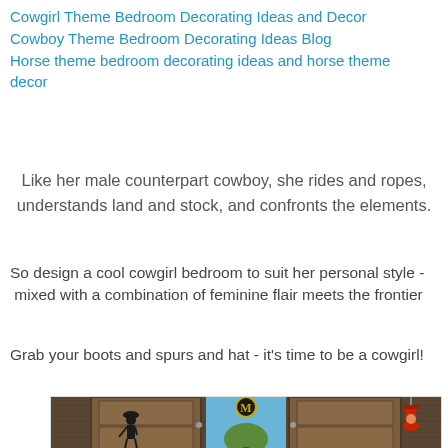Cowgirl Theme Bedroom Decorating Ideas and Decor
Cowboy Theme Bedroom Decorating Ideas Blog
Horse theme bedroom decorating ideas and horse theme decor
Like her male counterpart cowboy, she rides and ropes, understands land and stock, and confronts the elements.
So design a cool cowgirl bedroom to suit her personal style - mixed with a combination of feminine flair meets the frontier
Grab your boots and spurs and hat - it's time to be a cowgirl!
[Figure (photo): A rustic barn with wooden doors open, silhouette of a cowgirl with a hat, a gold M emblem, a red barn lamp, and a tree visible through the open doors against a blue sky.]